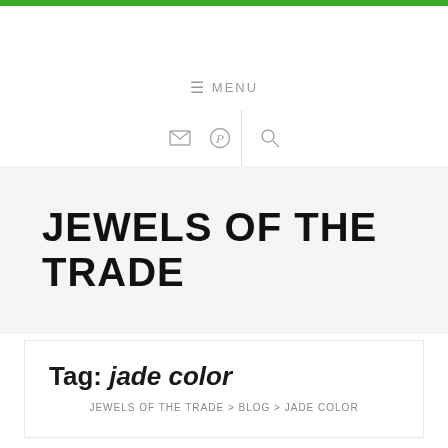≡ MENU
JEWELS OF THE TRADE
Tag: jade color
JEWELS OF THE TRADE > BLOG > JADE COLOR